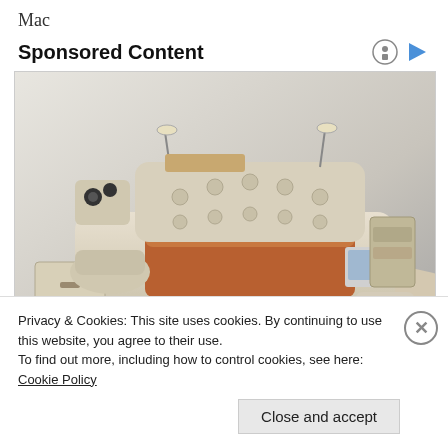Mac
Sponsored Content
[Figure (photo): A luxury multi-functional bed with built-in speakers, reading lamps, storage drawers, a recliner chair attachment, and a laptop table. The bed has a cream/beige leather upholstered frame with tufted headboard and various built-in features including shelving and pull-out drawers.]
Privacy & Cookies: This site uses cookies. By continuing to use this website, you agree to their use.
To find out more, including how to control cookies, see here: Cookie Policy
Close and accept